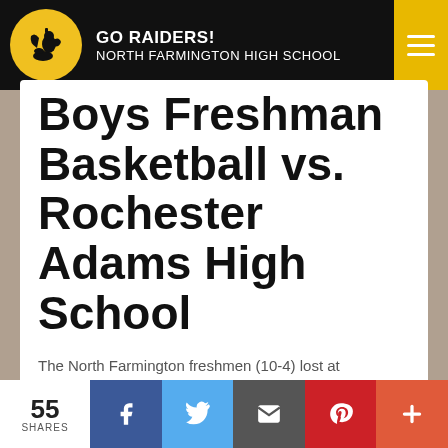GO RAIDERS! NORTH FARMINGTON HIGH SCHOOL
Boys Freshman Basketball vs. Rochester Adams High School
The North Farmington freshmen (10-4) lost at Rochester Adams 47-33 last night.  Lorence Woodley led the Raiders with 8 points.  The Highlanders' Lachlan Tillotson&nbs...
Read More
BOYS JUNIOR VARSITY BASKETBALL
- Posted 5.0 months ago @ 9:22AM
55 SHARES